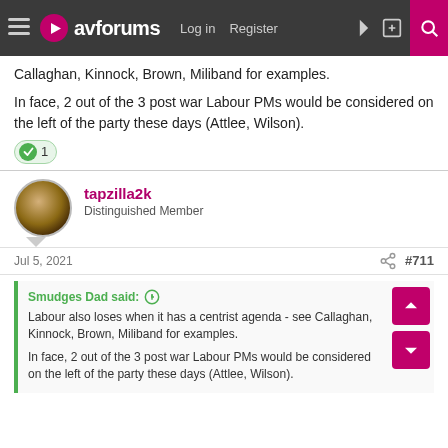avforums | Log in | Register
Callaghan, Kinnock, Brown, Miliband for examples.
In face, 2 out of the 3 post war Labour PMs would be considered on the left of the party these days (Attlee, Wilson).
tapzilla2k
Distinguished Member
Jul 5, 2021  #711
Smudges Dad said:
Labour also loses when it has a centrist agenda - see Callaghan, Kinnock, Brown, Miliband for examples.

In face, 2 out of the 3 post war Labour PMs would be considered on the left of the party these days (Attlee, Wilson).